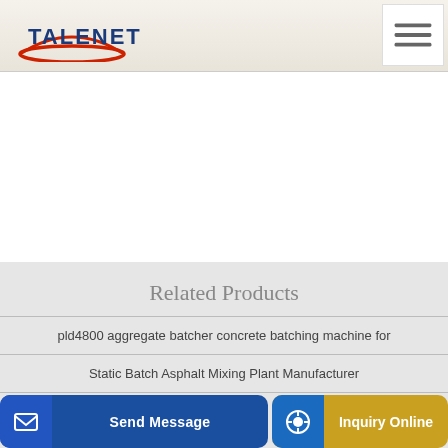[Figure (logo): Talenet logo with red swoosh and blue text]
[Figure (other): Hamburger menu button (three horizontal lines)]
Related Products
pld4800 aggregate batcher concrete batching machine for
Static Batch Asphalt Mixing Plant Manufacturer
...trucks...
[Figure (other): Send Message button with icon]
[Figure (other): Inquiry Online button with icon]